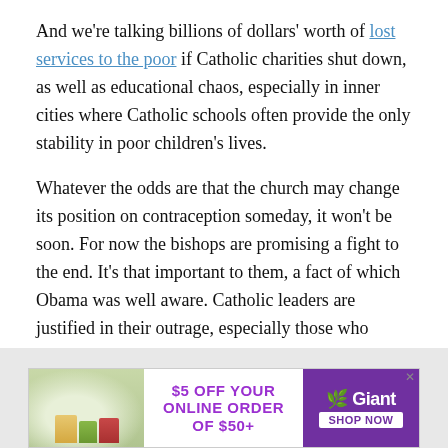And we're talking billions of dollars' worth of lost services to the poor if Catholic charities shut down, as well as educational chaos, especially in inner cities where Catholic schools often provide the only stability in poor children's lives.
Whatever the odds are that the church may change its position on contraception someday, it won't be soon. For now the bishops are promising a fight to the end. It's that important to them, a fact of which Obama was well aware. Catholic leaders are justified in their outrage, especially those who helped Obama with health-care reform and now feel betrayed.
[Figure (other): Advertisement banner for Giant grocery store: '$5 OFF YOUR ONLINE ORDER OF $50+' with Giant logo and 'SHOP NOW' button, with grocery items image on left.]